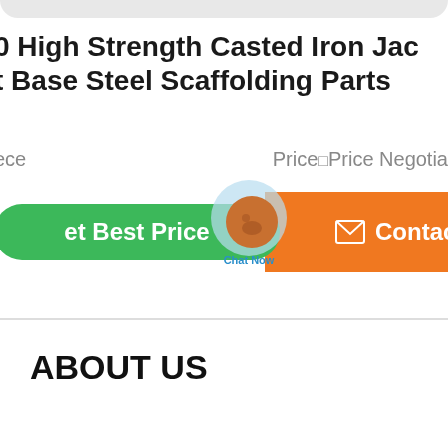0 High Strength Casted Iron Jac t Base Steel Scaffolding Parts
ece   Price Price Negotia
et Best Price   Contact
ABOUT US